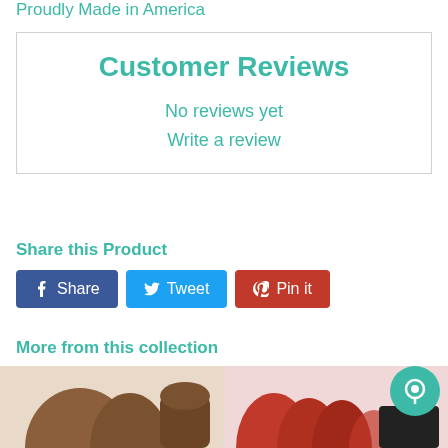Proudly Made in America
Customer Reviews
No reviews yet
Write a review
Share this Product
Share  Tweet  Pin it
More from this collection
[Figure (photo): Two brown product images with harness accessory]